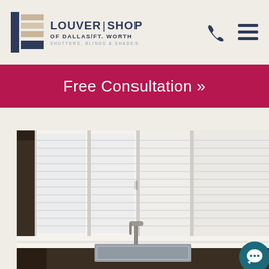[Figure (logo): Louver Shop of Dallas/Ft. Worth logo with icon and text: LOUVER|SHOP OF DALLAS/FT. WORTH SHUTTERS, BLINDS & SHADES]
Free Consultation »
[Figure (photo): Kitchen interior with white plantation shutters covering large windows above a stainless steel sink on a white countertop]